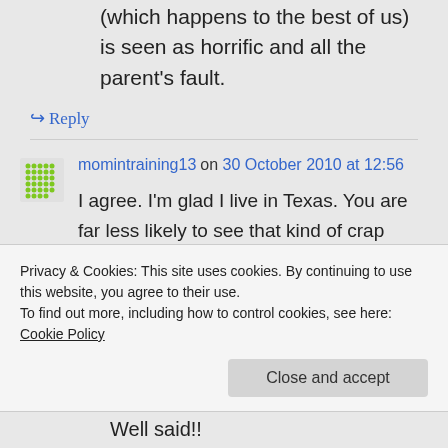(which happens to the best of us) is seen as horrific and all the parent's fault.
↪ Reply
momintraining13 on 30 October 2010 at 12:56
I agree. I'm glad I live in Texas. You are far less likely to see that kind of crap pulled here.
Privacy & Cookies: This site uses cookies. By continuing to use this website, you agree to their use.
To find out more, including how to control cookies, see here: Cookie Policy
Close and accept
Well said!!